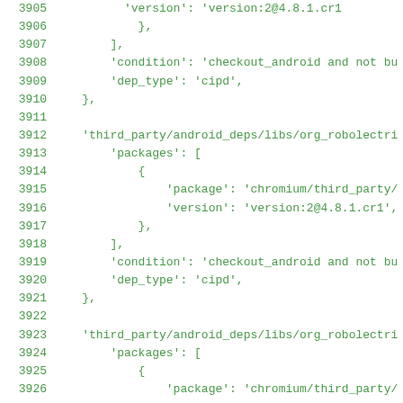Code listing lines 3905-3926 showing Python/JSON configuration with third_party/android_deps/libs/org_robolectri packages, versions, conditions, and dep_types